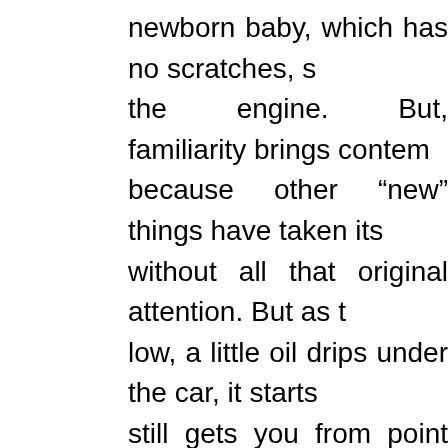newborn baby, which has no scratches, s... the engine. But, familiarity brings contem... because other “new” things have taken its... without all that original attention. But as t... low, a little oil drips under the car, it starts... still gets you from point “A” to point “B”... foothold in your body. They did not start th... regular maintenance, slowly over time ca... manufacture’s specifications. We learn to... all “we are getting old”. Scientists state th... years. Anything short of that is a lost life. ... die sick or spend the latter years with a l... will say that I am wrong with that statem... reverse what society tells us. There are pe... natural causes. The choice is yours, are yo...